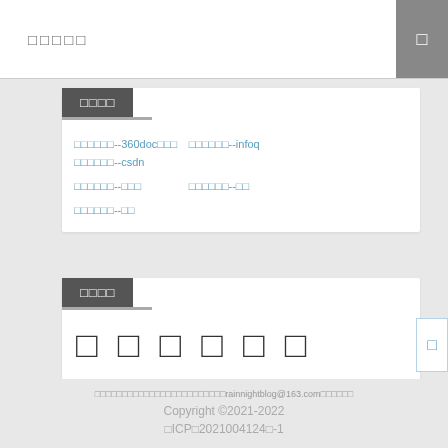□□□□□
□□□□
□□□□□□--360doc□□□
□□□□□□--infoq
□□□□□□--csdn
□□□□□□--□□□
□□□□□□--□□
□□□□□□--□□
□□□□
□ □ □ □ □ □
□□□□□□□□□□□□□□□□□□□□□□□□rainnightblog@163.com□□□□□□
Copyright ©2021-2022
□ICP□2021004124□-1